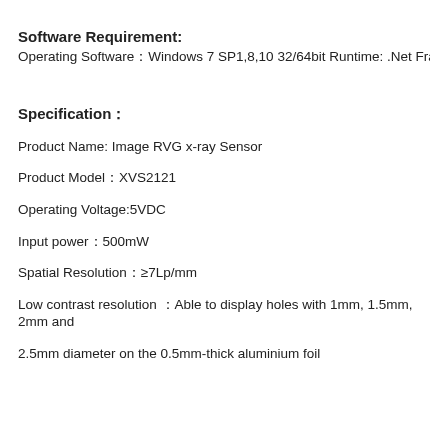Software Requirement:
Operating Software：Windows 7 SP1,8,10 32/64bit Runtime: .Net Framework 4.6 o
Specification：
Product Name: Image RVG x-ray Sensor
Product Model：XVS2121
Operating Voltage:5VDC
Input power：500mW
Spatial Resolution：≥7Lp/mm
Low contrast resolution ：Able to display holes with 1mm, 1.5mm, 2mm and
2.5mm diameter on the 0.5mm-thick aluminium foil